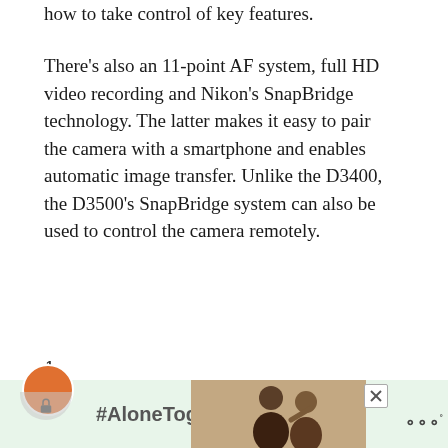how to take control of key features.
There's also an 11-point AF system, full HD video recording and Nikon's SnapBridge technology. The latter makes it easy to pair the camera with a smartphone and enables automatic image transfer. Unlike the D3400, the D3500's SnapBridge system can also be used to control the camera remotely.
[Figure (screenshot): UI buttons: heart/like button (teal circle), count '1', share button (white circle with share icon)]
[Figure (screenshot): Advertisement banner with #AloneTogether hashtag, photo of two people, close button, and Meredith logo]